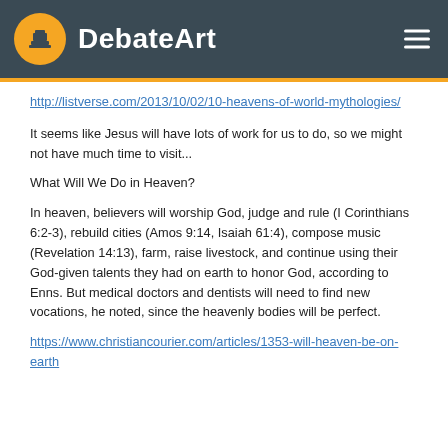DebateArt
http://listverse.com/2013/10/02/10-heavens-of-world-mythologies/
It seems like Jesus will have lots of work for us to do, so we might not have much time to visit...
What Will We Do in Heaven?
In heaven, believers will worship God, judge and rule (I Corinthians 6:2-3), rebuild cities (Amos 9:14, Isaiah 61:4), compose music (Revelation 14:13), farm, raise livestock, and continue using their God-given talents they had on earth to honor God, according to Enns. But medical doctors and dentists will need to find new vocations, he noted, since the heavenly bodies will be perfect.
https://www.christiancourier.com/articles/1353-will-heaven-be-on-earth